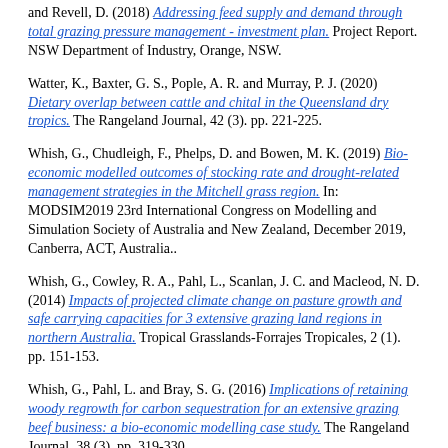and Revell, D. (2018) Addressing feed supply and demand through total grazing pressure management - investment plan. Project Report. NSW Department of Industry, Orange, NSW.
Watter, K., Baxter, G. S., Pople, A. R. and Murray, P. J. (2020) Dietary overlap between cattle and chital in the Queensland dry tropics. The Rangeland Journal, 42 (3). pp. 221-225.
Whish, G., Chudleigh, F., Phelps, D. and Bowen, M. K. (2019) Bio-economic modelled outcomes of stocking rate and drought-related management strategies in the Mitchell grass region. In: MODSIM2019 23rd International Congress on Modelling and Simulation Society of Australia and New Zealand, December 2019, Canberra, ACT, Australia..
Whish, G., Cowley, R. A., Pahl, L., Scanlan, J. C. and Macleod, N. D. (2014) Impacts of projected climate change on pasture growth and safe carrying capacities for 3 extensive grazing land regions in northern Australia. Tropical Grasslands-Forrajes Tropicales, 2 (1). pp. 151-153.
Whish, G., Pahl, L. and Bray, S. G. (2016) Implications of retaining woody regrowth for carbon sequestration for an extensive grazing beef business: a bio-economic modelling case study. The Rangeland Journal, 38 (3). pp. 319-330.
Whish, G., Penna, G. and Holloway, C. T. (2019) A benchmark for stocking rate management in a highly variable climate. In: 20th Biennial Australian Rangeland Society (ARS2018) Resilience for...